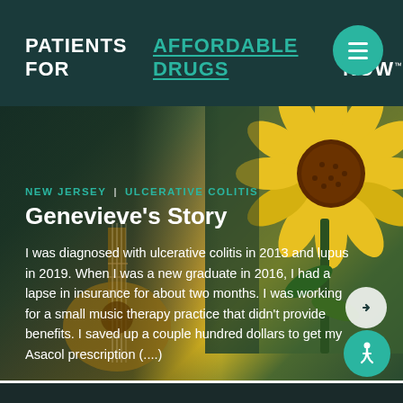PATIENTS FOR AFFORDABLE DRUGS NOW™
[Figure (photo): Hero image showing a person playing a ukulele with a large yellow sunflower in the background, with a dark teal overlay for text readability. Location tags and story title overlaid on the image.]
NEW JERSEY  |  ULCERATIVE COLITIS
Genevieve's Story
I was diagnosed with ulcerative colitis in 2013 and lupus in 2019. When I was a new graduate in 2016, I had a lapse in insurance for about two months. I was working for a small music therapy practice that didn't provide benefits. I saved up a couple hundred dollars to get my Asacol prescription (....)